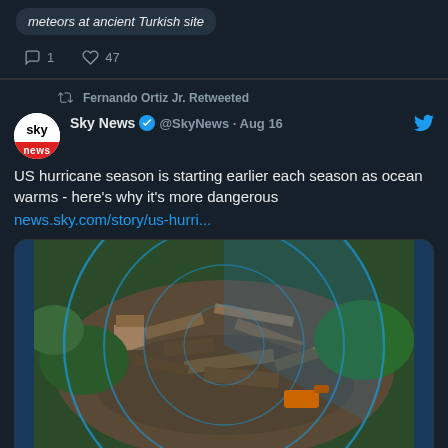meteors at ancient Turkish site
1   47
Fernando Ortiz Jr. Retweeted
Sky News @SkyNews · Aug 16
US hurricane season is starting earlier each season as ocean warms - here's why it's more dangerous
news.sky.com/story/us-hurri...
[Figure (photo): Aerial photo of hurricane storm debris and destruction overlaid with radar sweep circles in blue]
news.sky.com
US hurricane season is starting earlier each season as ocean warms - here...